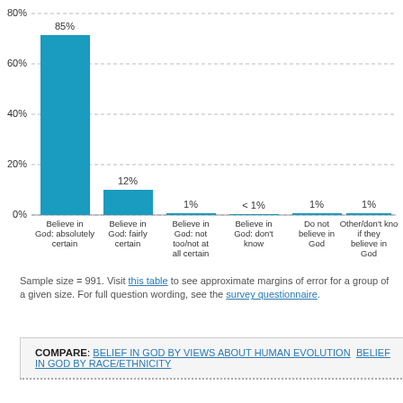[Figure (bar-chart): Belief in God]
Sample size = 991. Visit this table to see approximate margins of error for a group of a given size. For full question wording, see the survey questionnaire.
COMPARE: BELIEF IN GOD BY VIEWS ABOUT HUMAN EVOLUTION   BELIEF IN GOD BY RACE/ETHNICITY